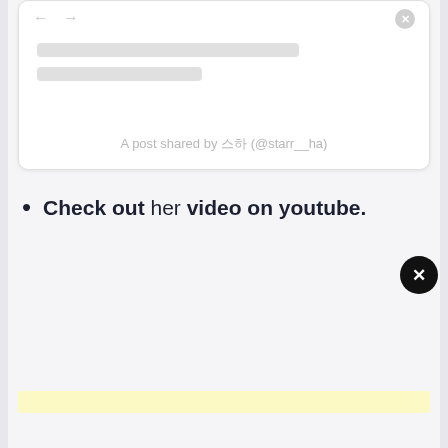[Figure (screenshot): Social media embedded post card with skeleton loading bars and caption 'A post shared by 스하 (@starr__ha)']
A post shared by 스하 (@starr__ha)
Check out her video on youtube.